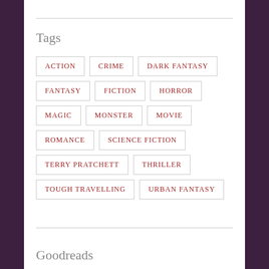Tags
ACTION
CRIME
DARK FANTASY
FANTASY
FICTION
HORROR
MAGIC
MONSTER
MOVIE
ROMANCE
SCIENCE FICTION
TERRY PRATCHETT
THRILLER
TOUGH TRAVELLING
URBAN FANTASY
Goodreads